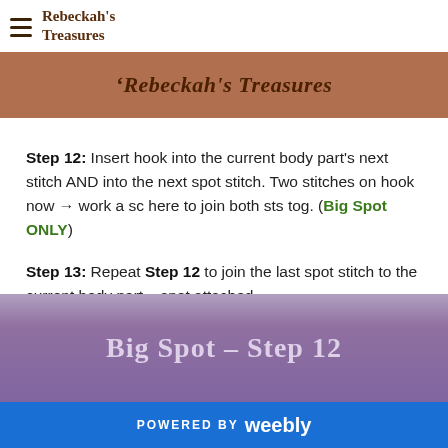Rebeckah's Treasures
[Figure (illustration): Brown banner with italic text reading Rebeckah's Treasures]
Step 12: Insert hook into the current body part's next stitch AND into the next spot stitch. Two stitches on hook now → work a sc here to join both sts tog. (Big Spot ONLY)
Step 13: Repeat Step 12 to join the last spot stitch to the current body part – spot attached.
[Figure (illustration): Purple/mauve banner with text reading Big Spot - Step 12]
POWERED BY weebly